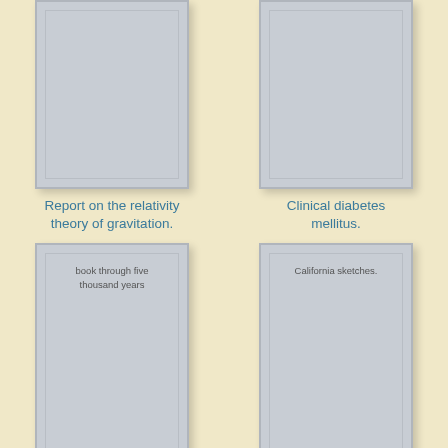[Figure (illustration): Book cover placeholder for 'Report on the relativity theory of gravitation.' - grey rectangle with inner border]
Report on the relativity theory of gravitation.
[Figure (illustration): Book cover placeholder for 'Clinical diabetes mellitus.' - grey rectangle with inner border]
Clinical diabetes mellitus.
[Figure (illustration): Book cover placeholder for 'book through five thousand years' - grey rectangle with inner border and text inside]
book through five thousand years
[Figure (illustration): Book cover placeholder for 'California sketches.' - grey rectangle with inner border and text inside]
California sketches.